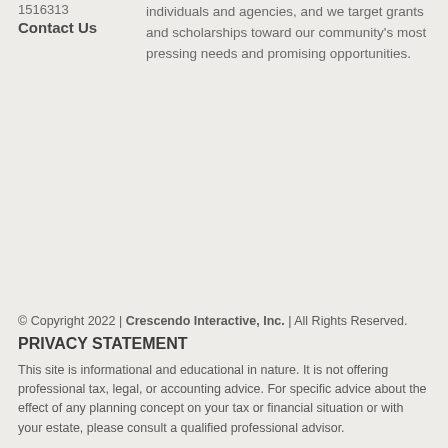1516313
Contact Us
individuals and agencies, and we target grants and scholarships toward our community's most pressing needs and promising opportunities.
© Copyright 2022 | Crescendo Interactive, Inc. | All Rights Reserved.
PRIVACY STATEMENT
This site is informational and educational in nature. It is not offering professional tax, legal, or accounting advice. For specific advice about the effect of any planning concept on your tax or financial situation or with your estate, please consult a qualified professional advisor.